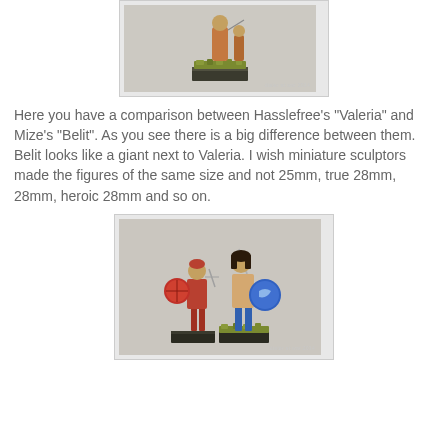[Figure (photo): A painted miniature figure on a grassy base with a dark green rectangular base, photographed against a light grey/white background. Watermark reads 'dialer at war 2014'.]
Here you have a comparison between Hasslefree's "Valeria" and Mize's "Belit". As you see there is a big difference between them. Belit looks like a giant next to Valeria. I wish miniature sculptors made the figures of the same size and not 25mm, true 28mm, 28mm, heroic 28mm and so on.
[Figure (photo): Two painted fantasy miniature figures side by side: left figure holds a red circular shield and sword wearing red armor; right figure is taller with blue circular shield with dolphin motif and sword raised, wearing minimal clothing with blue boots. Both on dark rectangular bases. Watermark reads 'dialer at war 2014'.]